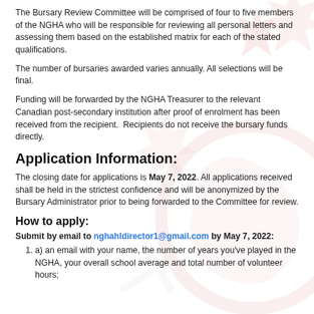The Bursary Review Committee will be comprised of four to five members of the NGHA who will be responsible for reviewing all personal letters and assessing them based on the established matrix for each of the stated qualifications.
The number of bursaries awarded varies annually. All selections will be final.
Funding will be forwarded by the NGHA Treasurer to the relevant Canadian post-secondary institution after proof of enrolment has been received from the recipient.  Recipients do not receive the bursary funds directly.
Application Information:
The closing date for applications is May 7, 2022. All applications received shall be held in the strictest confidence and will be anonymized by the Bursary Administrator prior to being forwarded to the Committee for review.
How to apply:
Submit by email to nghahldirector1@gmail.com by May 7, 2022:
a) an email with your name, the number of years you've played in the NGHA, your overall school average and total number of volunteer hours;